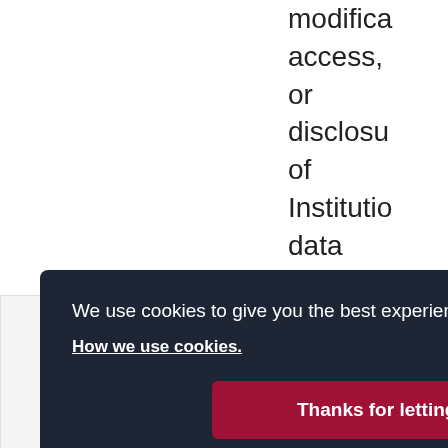modifica access, or disclosure of Institutio data and any non-complian th e ata ivacy nd curity requirem
[Figure (screenshot): Cookie consent banner overlay with dark navy background. Text reads: 'We use cookies to give you the best experience and to help improve our website.' with a link 'How we use cookies.' and a red button 'Thanks for letting me know'.]